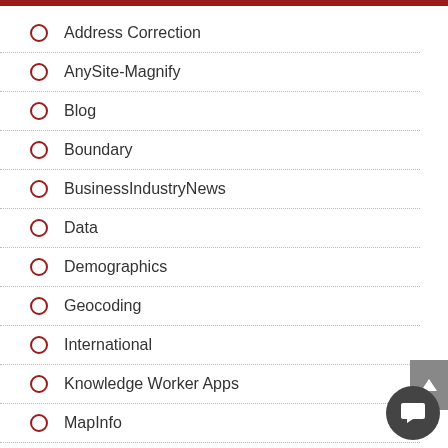Address Correction
AnySite-Magnify
Blog
Boundary
BusinessIndustryNews
Data
Demographics
Geocoding
International
Knowledge Worker Apps
MapInfo